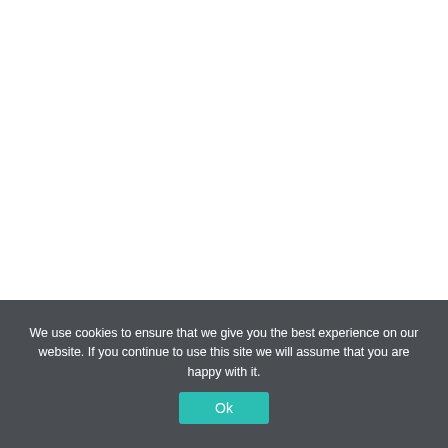[Figure (screenshot): White blank area representing top portion of a webpage, mostly empty]
We use cookies to ensure that we give you the best experience on our website. If you continue to use this site we will assume that you are happy with it.
Ok
The tools shown in the [overlaid] below.
Server Benchmarking LOD query....